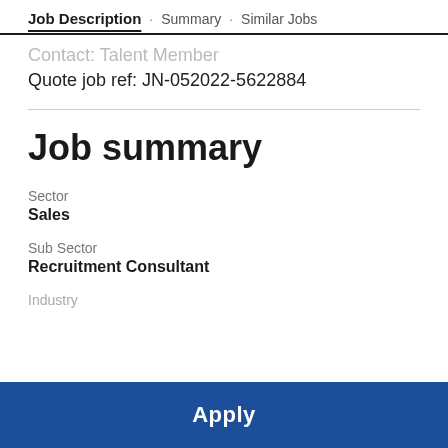Job Description · Summary · Similar Jobs
Contact: Talent Member
Quote job ref: JN-052022-5622884
Job summary
Sector
Sales
Sub Sector
Recruitment Consultant
Industry